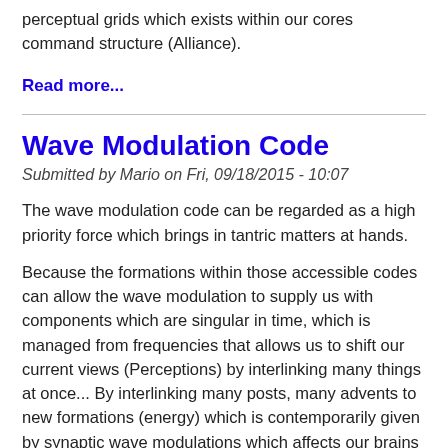perceptual grids which exists within our cores command structure (Alliance).
Read more...
Wave Modulation Code
Submitted by Mario on Fri, 09/18/2015 - 10:07
The wave modulation code can be regarded as a high priority force which brings in tantric matters at hands.
Because the formations within those accessible codes can allow the wave modulation to supply us with components which are singular in time, which is managed from frequencies that allows us to shift our current views (Perceptions) by interlinking many things at once... By interlinking many posts, many advents to new formations (energy) which is contemporarily given by synaptic wave modulations which affects our brains main components for us to receive reality as it is.